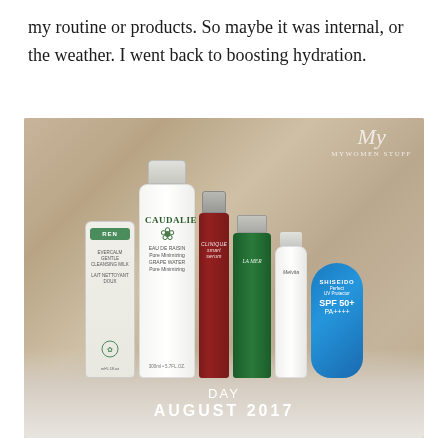my routine or products. So maybe it was internal, or the weather. I went back to boosting hydration.
[Figure (photo): Flatlay photo of skincare products on a beige fabric background: REN cleanser, Caudalie tall white spray bottle, Clinique dark red serum, La Mer green bottle, Melvita white bottle, and Shiseido blue egg-shaped sunscreen SPF50+. Text overlay reads 'DAY AUGUST 2017'. Watermark 'My Women Stuff' in top right corner.]